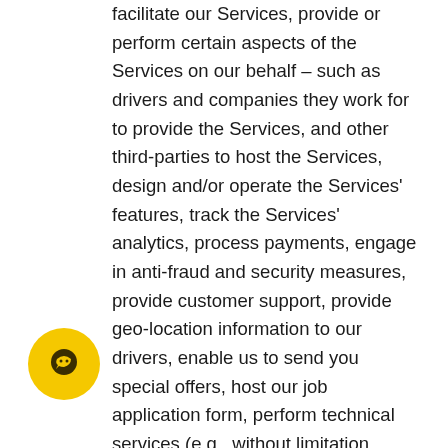facilitate our Services, provide or perform certain aspects of the Services on our behalf – such as drivers and companies they work for to provide the Services, and other third-parties to host the Services, design and/or operate the Services' features, track the Services' analytics, process payments, engage in anti-fraud and security measures, provide customer support, provide geo-location information to our drivers, enable us to send you special offers, host our job application form, perform technical services (e.g., without limitation, maintenance services, database management, web analytics and improvement of the Services' features), or perform other administrative services. We may provide these vendors with access to user information, including Personal Information, this information sharing is limited to only the information needed by the vendor to carry out the services they are performing for you or for us. Each of these vendors are obligated not to disclose or use Personal Information for any other purpose. While we
[Figure (illustration): Yellow circular chat/support icon with a speech bubble symbol, positioned at bottom left of the page]